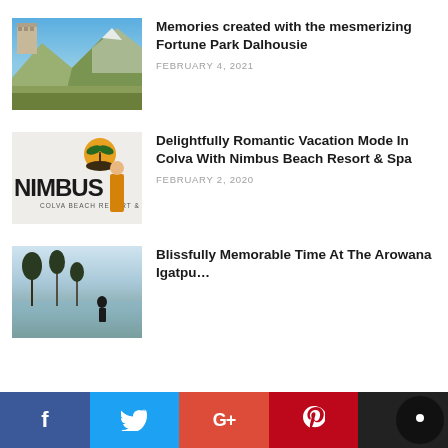[Figure (photo): Mountain landscape with blue sky and a building on the upper left, brown/green hillside]
Memories created with the mesmerizing Fortune Park Dalhousie
FEBRUARY 4, 2021
[Figure (photo): Nimbus Colva Beach Resort & Spa logo with a person in orange standing in front of the sign]
Delightfully Romantic Vacation Mode In Colva With Nimbus Beach Resort & Spa
FEBRUARY 2, 2020
[Figure (photo): Outdoor scene near a body of water with trees, partially visible]
Blissfully Memorable Time At The Arowana Igatpu…